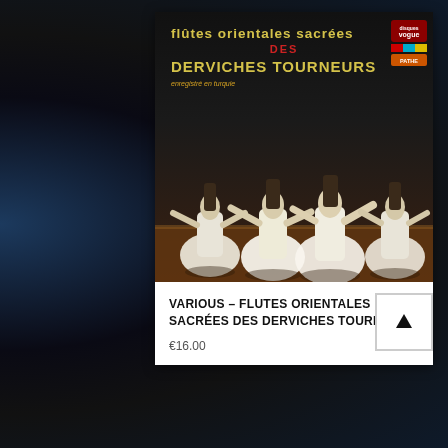[Figure (photo): Album cover for 'Flûtes Orientales Sacrées des Derviches Tourneurs' showing whirling dervishes in white robes spinning on a stage with dark background. Yellow bold text title and red subtitle on dark background. Vogue Records label badge in top right corner. Text reads 'enregistré en turquie'.]
VARIOUS – FLUTES ORIENTALES SACRÉES DES DERVICHES TOURNEURS
€16.00